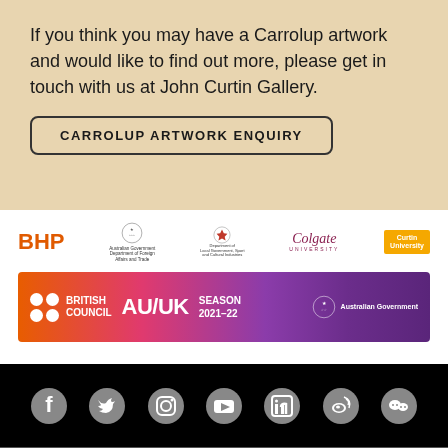If you think you may have a Carrolup artwork and would like to find out more, please get in touch with us at John Curtin Gallery.
CARROLUP ARTWORK ENQUIRY
[Figure (logo): Sponsor logos row: BHP (orange), Australian Government Department of Foreign Affairs and Trade (crest + text), Department of Local Government Sport and Cultural Industries (crest + text), Colgate University (serif italic), Curtin University (gold box)]
[Figure (logo): British Council AU/UK Season 2021-22 banner with gradient background (orange to purple) featuring British Council dots logo, AU/UK text, SEASON 2021-22, and Australian Government crest]
[Figure (logo): Social media icons row on black background: Facebook, Twitter, Instagram, YouTube, LinkedIn, Weibo, WeChat]